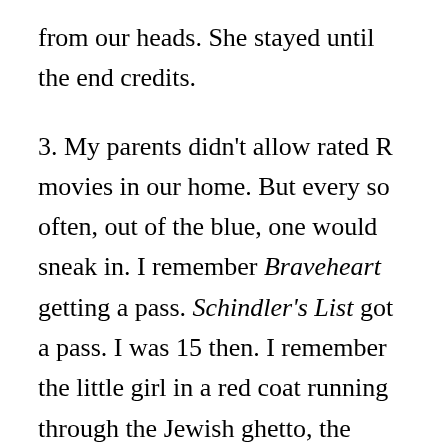from our heads. She stayed until the end credits.
3. My parents didn't allow rated R movies in our home. But every so often, out of the blue, one would sneak in. I remember Braveheart getting a pass. Schindler's List got a pass. I was 15 then. I remember the little girl in a red coat running through the Jewish ghetto, the naked, starving people, the part where Schindler tells the bad concentration camp commander that real power is pardoning, not executing